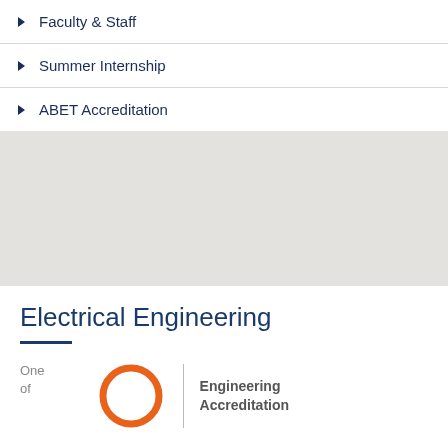Faculty & Staff
Summer Internship
ABET Accreditation
Electrical Engineering
One of
[Figure (logo): ABET Engineering Accreditation logo — orange circle with vertical divider and text 'Engineering Accreditation']